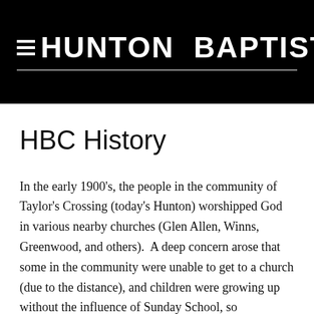≡ HUNTON BAPTIST CHURCH
HBC History
In the early 1900's, the people in the community of Taylor's Crossing (today's Hunton) worshipped God in various nearby churches (Glen Allen, Winns, Greenwood, and others).  A deep concern arose that some in the community were unable to get to a church (due to the distance), and children were growing up without the influence of Sunday School, so community members